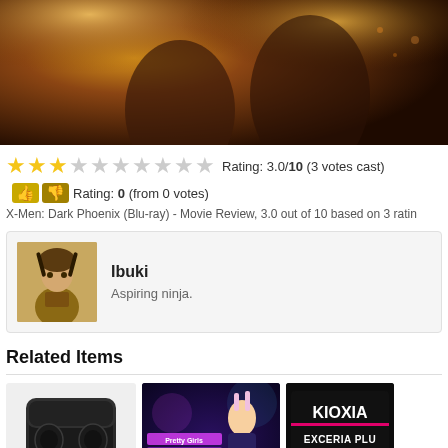[Figure (photo): Movie still from X-Men: Dark Phoenix, dark warm-toned scene with orange/golden light]
Rating: 3.0/10 (3 votes cast)
Rating: 0 (from 0 votes)
X-Men: Dark Phoenix (Blu-ray) - Movie Review, 3.0 out of 10 based on 3 ratings
Ibuki
Aspiring ninja.
Related Items
[Figure (photo): Black wireless earbuds in charging case]
[Figure (photo): Pretty Girls Four Kings Solitaire game cover with anime character]
[Figure (photo): KIOXIA EXCERIA PLUS 1TB micro SD XC card]